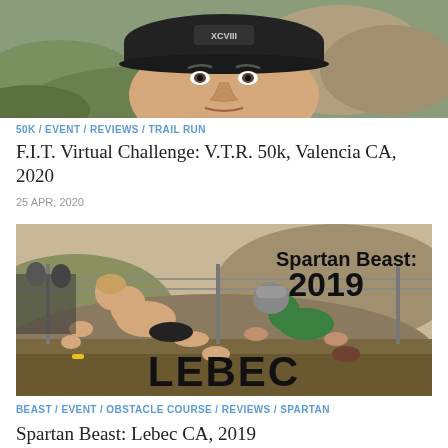[Figure (photo): Close-up photo of a man wearing a black cap with text, outdoors with rocky hills in background]
50K / EVENT / REVIEWS / TRAIL RUN
F.I.T. Virtual Challenge: V.T.R. 50k, Valencia CA, 2020
25 APR, 2020
[Figure (photo): Photo of participants crawling under barbed wire at Spartan Beast 2019 race in Lebec, with text overlay reading 'Spartan Beast: 2019' and 'LEBEC']
BEAST / EVENT / OBSTACLE COURSE / REVIEWS / SPARTAN
Spartan Beast: Lebec CA, 2019